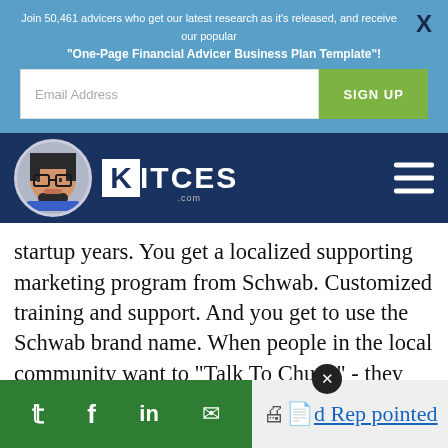Join 50,461 advicers who get our latest research as it's released, and receive our popular
"One-Page Financial Advicer Business Plan Template"!
Email Address
SIGN UP
[Figure (logo): Kitces.com logo with pixel-art avatar on dark blue navigation bar]
startup years. You get a localized supporting marketing program from Schwab. Customized training and support. And you get to use the Schwab brand name. When people in the local community want to "Talk To Chuck" - they get you. Or as Schwab simply puts it: "Build Your Client Base. Leave The Infrastructure To Us."
d Rep pointed
multiple h...